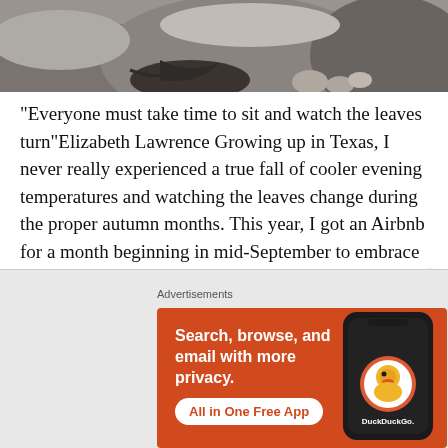[Figure (photo): Outdoor photo of large rocks and boulders, partially visible at top of page]
"Everyone must take time to sit and watch the leaves turn"Elizabeth Lawrence Growing up in Texas, I never really experienced a true fall of cooler evening temperatures and watching the leaves change during the proper autumn months. This year, I got an Airbnb for a month beginning in mid-September to embrace all things fall every [...]
[Figure (infographic): DuckDuckGo advertisement banner with orange background. Text: 'Search, browse, and email with more privacy. All in One Free App'. Shows phone with DuckDuckGo logo.]